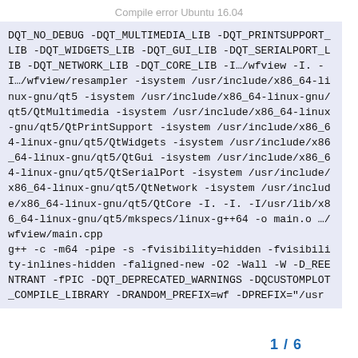Compile error Ubuntu 16.04
DQT_NO_DEBUG -DQT_MULTIMEDIA_LIB -DQT_PRINTSUPPORT_LIB -DQT_WIDGETS_LIB -DQT_GUI_LIB -DQT_SERIALPORT_LIB -DQT_NETWORK_LIB -DQT_CORE_LIB -I…/wfview -I. -I…/wfview/resampler -isystem /usr/include/x86_64-linux-gnu/qt5 -isystem /usr/include/x86_64-linux-gnu/qt5/QtMultimedia -isystem /usr/include/x86_64-linux-gnu/qt5/QtPrintSupport -isystem /usr/include/x86_64-linux-gnu/qt5/QtWidgets -isystem /usr/include/x86_64-linux-gnu/qt5/QtGui -isystem /usr/include/x86_64-linux-gnu/qt5/QtSerialPort -isystem /usr/include/x86_64-linux-gnu/qt5/QtNetwork -isystem /usr/include/x86_64-linux-gnu/qt5/QtCore -I. -I. -I/usr/lib/x86_64-linux-gnu/qt5/mkspecs/linux-g++64 -o main.o …/wfview/main.cpp
g++ -c -m64 -pipe -s -fvisibility=hidden -fvisibility-inlines-hidden -faligned-new -O2 -Wall -W -D_REENTRANT -fPIC -DQT_DEPRECATED_WARNINGS -DQCUSTOMPLOT_COMPILE_LIBRARY -DRANDOM_PREFIX=wf -DPREFIX="/usr
1 / 6